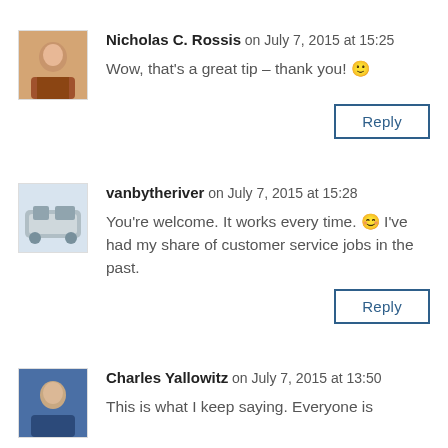Nicholas C. Rossis on July 7, 2015 at 15:25
Wow, that's a great tip – thank you! 🙂
Reply
vanbytheriver on July 7, 2015 at 15:28
You're welcome. It works every time. 😊 I've had my share of customer service jobs in the past.
Reply
Charles Yallowitz on July 7, 2015 at 13:50
This is what I keep saying. Everyone is